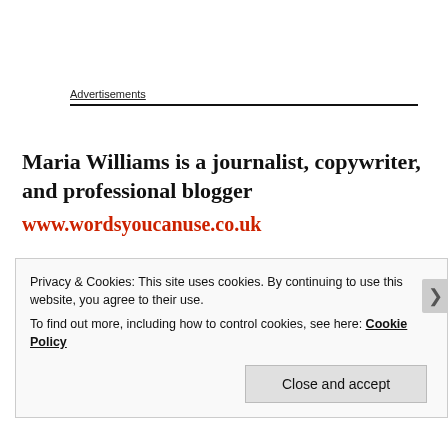Advertisements
Maria Williams is a journalist, copywriter, and professional blogger
www.wordsyoucanuse.co.uk
Privacy & Cookies: This site uses cookies. By continuing to use this website, you agree to their use.
To find out more, including how to control cookies, see here: Cookie Policy
Close and accept